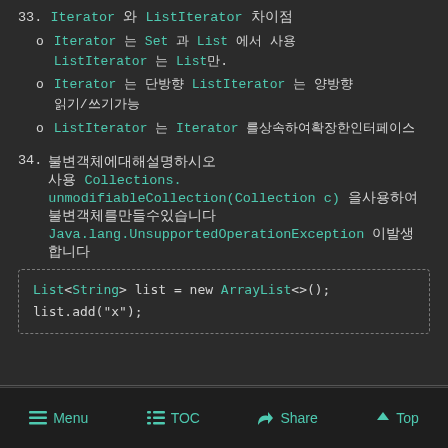33. Iterator 와 ListIterator 차이점
Iterator 는 Set 과 List 에서 사용 ListIterator 는 List만.
Iterator 는 단방향 ListIterator 는 양방향 읽기/쓰기가능
ListIterator 는 Iterator 를상속하여확장한인터페이스
34. 불변객체에대해설명하시오 사용 Collections.unmodifiableCollection(Collection c) 을사용하여 불변객체를만들수있습니다 Java.lang.UnsupportedOperationException 이발생 합니다
List<String> list = new ArrayList<>();
list.add("x");
Menu  TOC  Share  Top